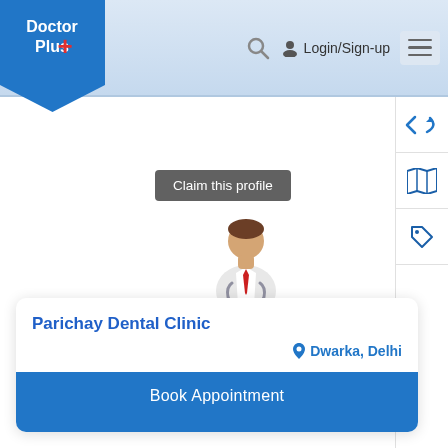[Figure (screenshot): Doctor Plus+ logo badge — blue pennant shape with white text 'Doctor Plus' and red plus sign]
[Figure (screenshot): Header navigation bar with search icon, Login/Sign-up link, and hamburger menu]
[Figure (screenshot): Right sidebar with back arrow, forward arrow, map icon, and tag icon]
Claim this profile
[Figure (illustration): Generic doctor avatar icon — person with stethoscope wearing white coat and red tie]
Parichay Dental Clinic
Dwarka, Delhi
Book Appointment